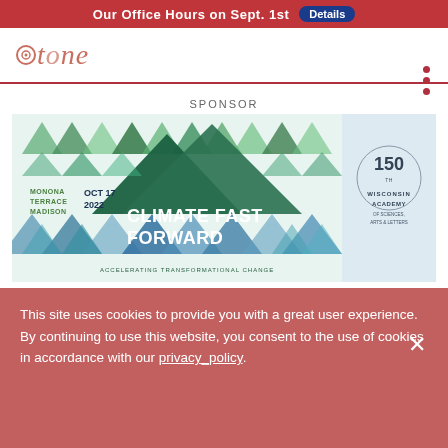Our Office Hours on Sept. 1st  Details
tone (logo)
SPONSOR
[Figure (illustration): Climate Fast Forward event advertisement. Shows green, teal, and blue chevron/triangle patterns. Text: MONONA TERRACE MADISON, OCT 17 2022, CLIMATE FAST FORWARD, ACCELERATING TRANSFORMATIONAL CHANGE. Right side panel shows Wisconsin Academy of Sciences Arts & Letters 150th anniversary logo.]
Displacement, loneliness, and spontaneous community amid the violence
This site uses cookies to provide you with a great user experience. By continuing to use this website, you consent to the use of cookies in accordance with our privacy_policy.